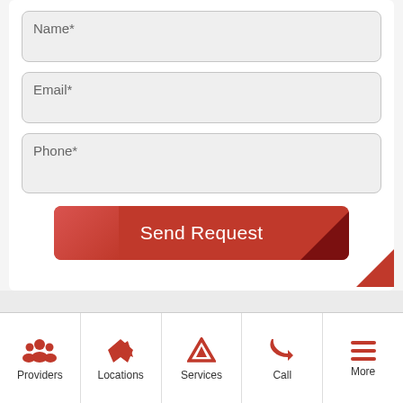[Figure (screenshot): Mobile app contact form with Name, Email, Phone fields and Send Request button, plus bottom navigation bar with Providers, Locations, Services, Call, More tabs]
Name*
Email*
Phone*
Send Request
Providers | Locations | Services | Call | More